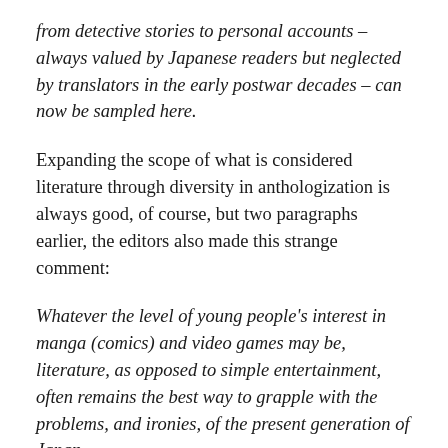from detective stories to personal accounts – always valued by Japanese readers but neglected by translators in the early postwar decades – can now be sampled here.
Expanding the scope of what is considered literature through diversity in anthologization is always good, of course, but two paragraphs earlier, the editors also made this strange comment:
Whatever the level of young people's interest in manga (comics) and video games may be, literature, as opposed to simple entertainment, often remains the best way to grapple with the problems, and ironies, of the present generation of Japan.